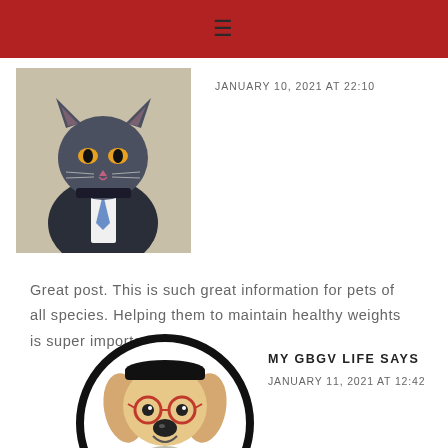≡
JANUARY 10, 2021 AT 22:10
[Figure (photo): A grey cat wearing a suit and tie]
Great post. This is such great information for pets of all species. Helping them to maintain healthy weights is super important.
[Figure (logo): My GBGV Life logo — cartoon dog in beret with circular black border]
MY GBGV LIFE SAYS
JANUARY 11, 2021 AT 12:42